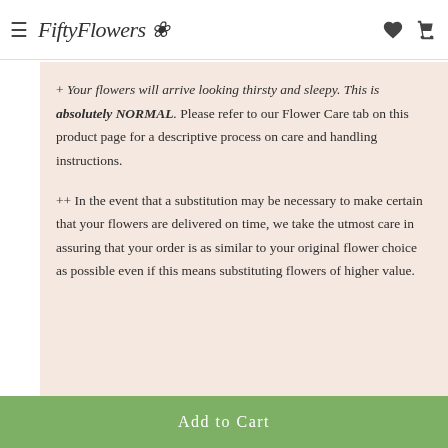FiftyFlowers
+ Your flowers will arrive looking thirsty and sleepy. This is absolutely NORMAL. Please refer to our Flower Care tab on this product page for a descriptive process on care and handling instructions.
++ In the event that a substitution may be necessary to make certain that your flowers are delivered on time, we take the utmost care in assuring that your order is as similar to your original flower choice as possible even if this means substituting flowers of higher value.
Add to Cart